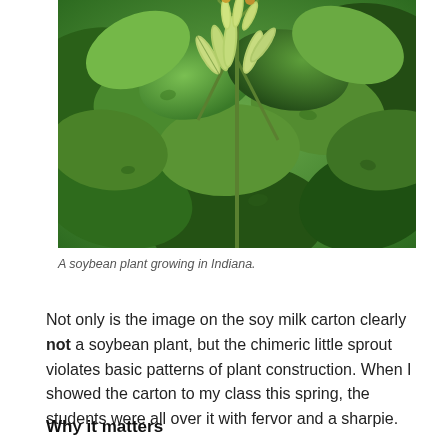[Figure (photo): Close-up photograph of a soybean plant with green pods and leaves growing in Indiana.]
A soybean plant growing in Indiana.
Not only is the image on the soy milk carton clearly not a soybean plant, but the chimeric little sprout violates basic patterns of plant construction. When I showed the carton to my class this spring, the students were all over it with fervor and a sharpie.
Why it matters